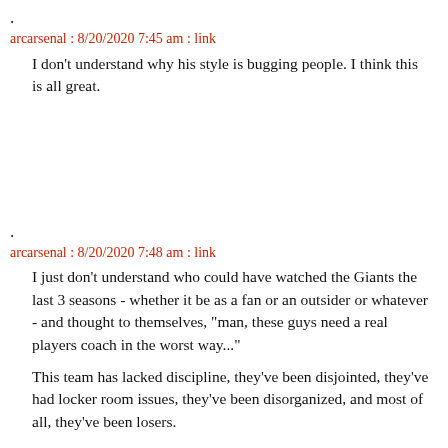.
arcarsenal : 8/20/2020 7:45 am : link
I don't understand why his style is bugging people. I think this is all great.
.
arcarsenal : 8/20/2020 7:48 am : link
I just don't understand who could have watched the Giants the last 3 seasons - whether it be as a fan or an outsider or whatever - and thought to themselves, "man, these guys need a real players coach in the worst way..."
This team has lacked discipline, they've been disjointed, they've had locker room issues, they've been disorganized, and most of all, they've been losers.
You don't bring in a guy to come in and be chummy with everyone when that's the case.